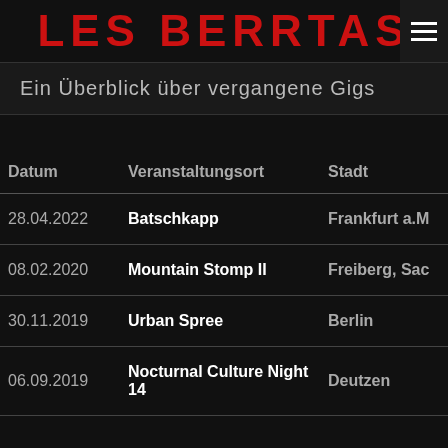LES BERRTAS
Ein Überblick über vergangene Gigs
| Datum | Veranstaltungsort | Stadt |
| --- | --- | --- |
| 28.04.2022 | Batschkapp | Frankfurt a.M |
| 08.02.2020 | Mountain Stomp II | Freiberg, Sac |
| 30.11.2019 | Urban Spree | Berlin |
| 06.09.2019 | Nocturnal Culture Night 14 | Deutzen |